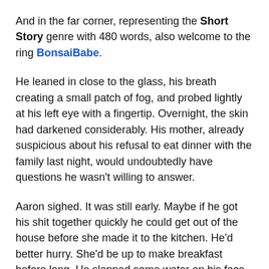And in the far corner, representing the Short Story genre with 480 words, also welcome to the ring BonsaiBabe.
He leaned in close to the glass, his breath creating a small patch of fog, and probed lightly at his left eye with a fingertip. Overnight, the skin had darkened considerably. His mother, already suspicious about his refusal to eat dinner with the family last night, would undoubtedly have questions he wasn't willing to answer.
Aaron sighed. It was still early. Maybe if he got his shit together quickly he could get out of the house before she made it to the kitchen. He'd better hurry. She'd be up to make breakfast before long. He slapped some water on his face and ran his damp hands over his hair. Pulling on a black t-shirt and his favorite hoodie in quick succession, he stuffed his feet into the ratty old sneakers his mother kept threatening to replace.
He couldn't hide the black eye, but he decided his best...